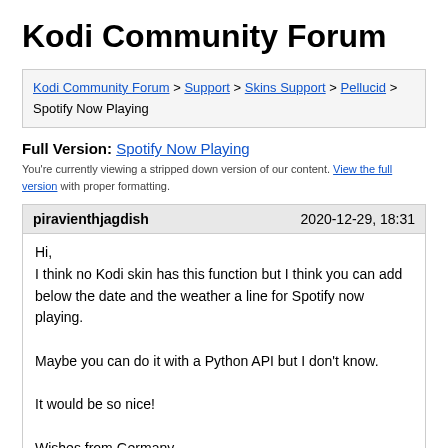Kodi Community Forum
Kodi Community Forum > Support > Skins Support > Pellucid > Spotify Now Playing
Full Version: Spotify Now Playing
You're currently viewing a stripped down version of our content. View the full version with proper formatting.
piravienthjagdish | 2020-12-29, 18:31
Hi,
I think no Kodi skin has this function but I think you can add below the date and the weather a line for Spotify now playing.

Maybe you can do it with a Python API but I don't know.

It would be so nice!

Wishes from Germany,
Braveen
piravienthjagdish | 2020-12-29, 18:58